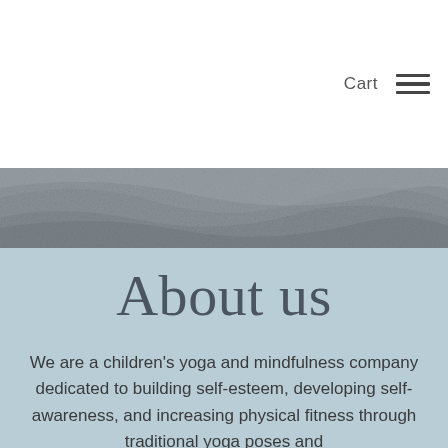Cart
[Figure (photo): A textured grey stone or rock surface forming a horizontal band across the page]
About us
We are a children's yoga and mindfulness company dedicated to building self-esteem, developing self- awareness, and increasing physical fitness through traditional yoga poses and